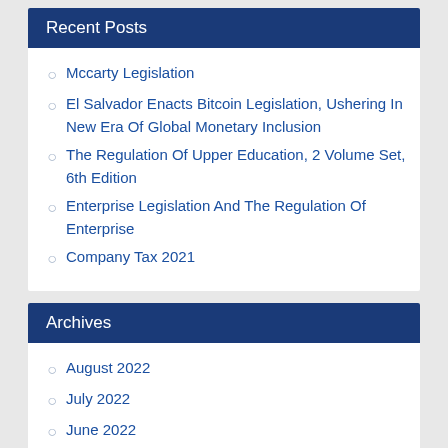Recent Posts
Mccarty Legislation
El Salvador Enacts Bitcoin Legislation, Ushering In New Era Of Global Monetary Inclusion
The Regulation Of Upper Education, 2 Volume Set, 6th Edition
Enterprise Legislation And The Regulation Of Enterprise
Company Tax 2021
Archives
August 2022
July 2022
June 2022
May 2022